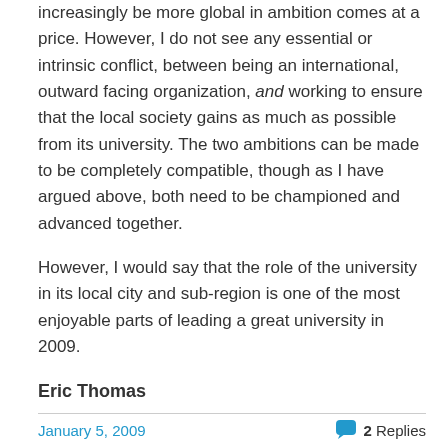increasingly be more global in ambition comes at a price. However, I do not see any essential or intrinsic conflict, between being an international, outward facing organization, and working to ensure that the local society gains as much as possible from its university. The two ambitions can be made to be completely compatible, though as I have argued above, both need to be championed and advanced together.
However, I would say that the role of the university in its local city and sub-region is one of the most enjoyable parts of leading a great university in 2009.
Eric Thomas
January 5, 2009   2 Replies